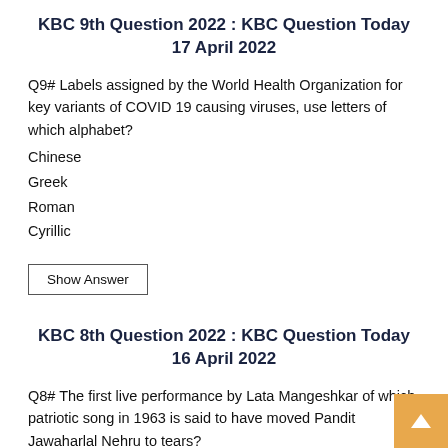KBC 9th Question 2022 : KBC Question Today 17 April 2022
Q9# Labels assigned by the World Health Organization for key variants of COVID 19 causing viruses, use letters of which alphabet?
Chinese
Greek
Roman
Cyrillic
Show Answer
KBC 8th Question 2022 : KBC Question Today 16 April 2022
Q8# The first live performance by Lata Mangeshkar of which patriotic song in 1963 is said to have moved Pandit Jawaharlal Nehru to tears?
Aye Mere Watan Ke Logon
Aisa desh Hai Mera